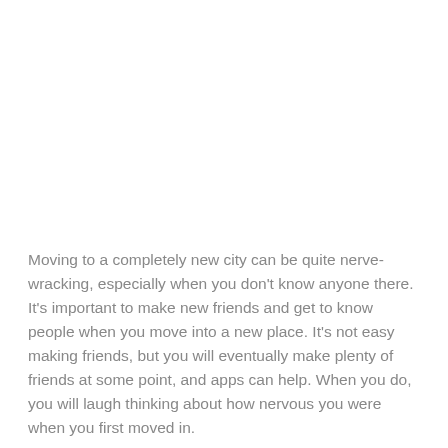Moving to a completely new city can be quite nerve-wracking, especially when you don't know anyone there. It's important to make new friends and get to know people when you move into a new place. It's not easy making friends, but you will eventually make plenty of friends at some point, and apps can help. When you do, you will laugh thinking about how nervous you were when you first moved in.